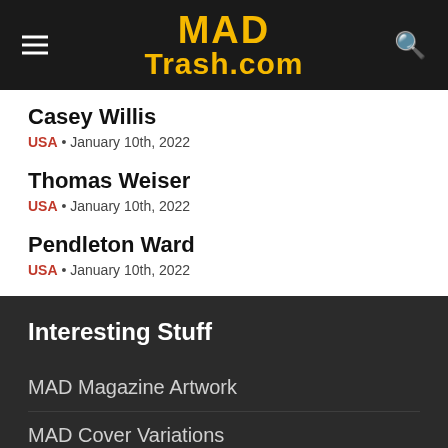MAD Trash.com
Casey Willis
USA · January 10th, 2022
Thomas Weiser
USA · January 10th, 2022
Pendleton Ward
USA · January 10th, 2022
Interesting Stuff
MAD Magazine Artwork
MAD Cover Variations
Don Martin Fan Shops
MAD Star Wars Covers